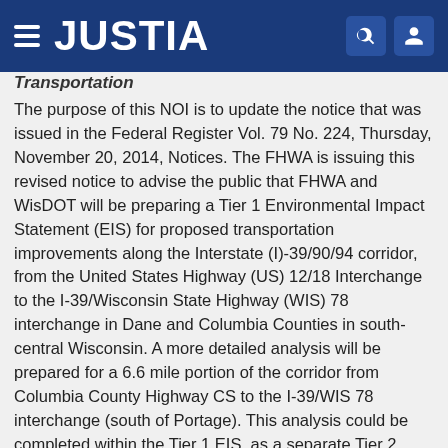JUSTIA
Transportation
The purpose of this NOI is to update the notice that was issued in the Federal Register Vol. 79 No. 224, Thursday, November 20, 2014, Notices. The FHWA is issuing this revised notice to advise the public that FHWA and WisDOT will be preparing a Tier 1 Environmental Impact Statement (EIS) for proposed transportation improvements along the Interstate (I)-39/90/94 corridor, from the United States Highway (US) 12/18 Interchange to the I-39/Wisconsin State Highway (WIS) 78 interchange in Dane and Columbia Counties in south-central Wisconsin. A more detailed analysis will be prepared for a 6.6 mile portion of the corridor from Columbia County Highway CS to the I-39/WIS 78 interchange (south of Portage). This analysis could be completed within the Tier 1 EIS, as a separate Tier 2 NEPA document, or with an environmental document